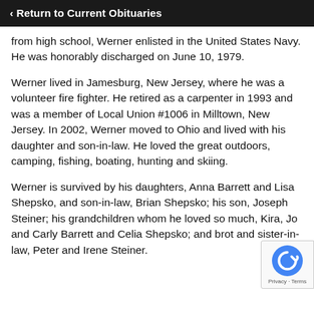‹ Return to Current Obituaries
from high school, Werner enlisted in the United States Navy. He was honorably discharged on June 10, 1979.
Werner lived in Jamesburg, New Jersey, where he was a volunteer fire fighter. He retired as a carpenter in 1993 and was a member of Local Union #1006 in Milltown, New Jersey. In 2002, Werner moved to Ohio and lived with his daughter and son-in-law. He loved the great outdoors, camping, fishing, boating, hunting and skiing.
Werner is survived by his daughters, Anna Barrett and Lisa Shepsko, and son-in-law, Brian Shepsko; his son, Joseph Steiner; his grandchildren whom he loved so much, Kira, Jo and Carly Barrett and Celia Shepsko; and brot and sister-in-law, Peter and Irene Steiner.